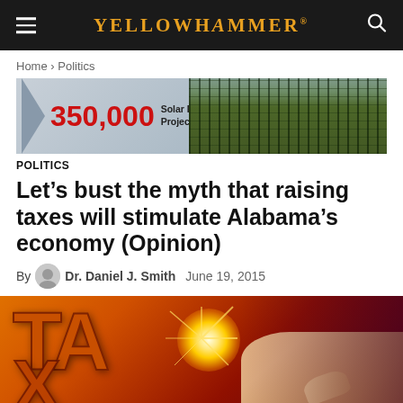YELLOWHAMMER
Home › Politics
[Figure (infographic): Banner image showing '350,000 Solar Panel Project' with chevron graphic on left and aerial photo of solar panels on right]
POLITICS
Let's bust the myth that raising taxes will stimulate Alabama's economy (Opinion)
By Dr. Daniel J. Smith  June 19, 2015
[Figure (photo): Dramatic image with large orange/red cracked TAX letters being shattered by a bright flash of light, with a hand reaching in from the right, against an orange and dark red background]